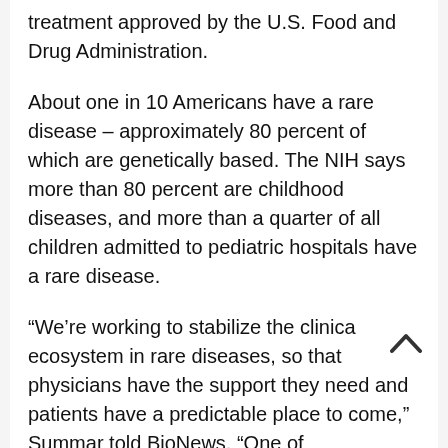treatment approved by the U.S. Food and Drug Administration.
About one in 10 Americans have a rare disease – approximately 80 percent of which are genetically based. The NIH says more than 80 percent are childhood diseases, and more than a quarter of all children admitted to pediatric hospitals have a rare disease.
“We’re working to stabilize the clinica ecosystem in rare diseases, so that physicians have the support they need and patients have a predictable place to come,” Summar told BioNews. “One of